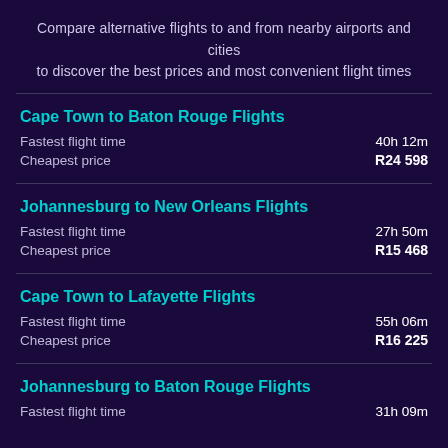Compare alternative flights to and from nearby airports and cities to discover the best prices and most convenient flight times
Cape Town to Baton Rouge Flights
Fastest flight time  40h 12m
Cheapest price  R24 598
Johannesburg to New Orleans Flights
Fastest flight time  27h 50m
Cheapest price  R15 468
Cape Town to Lafayette Flights
Fastest flight time  55h 06m
Cheapest price  R16 225
Johannesburg to Baton Rouge Flights
Fastest flight time  31h 09m